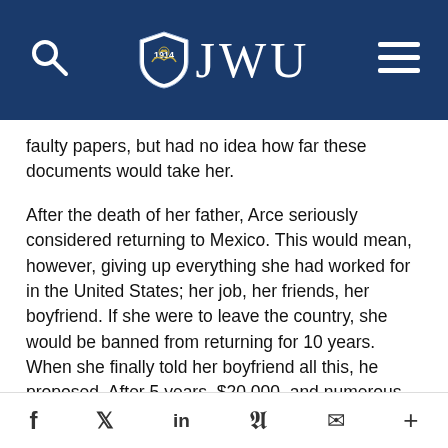JWU
faulty papers, but had no idea how far these documents would take her.
After the death of her father, Arce seriously considered returning to Mexico. This would mean, however, giving up everything she had worked for in the United States; her job, her friends, her boyfriend. If she were to leave the country, she would be banned from returning for 10 years. When she finally told her boyfriend all this, he proposed. After 5 years, $20,000, and numerous interviews and forms, Arce finally became a U.S. citizen in August of last year.
While telling her story Arce also played video clips,
f  t  in  P  ✉  +